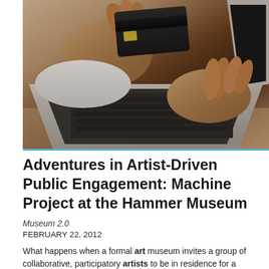[Figure (photo): Person holding a credit card in one hand while typing on a laptop keyboard with the other hand. Close-up shot with warm brown tones.]
Adventures in Artist-Driven Public Engagement: Machine Project at the Hammer Museum
Museum 2.0
FEBRUARY 22, 2012
What happens when a formal art museum invites a group of collaborative, participatory artists to be in residence for a